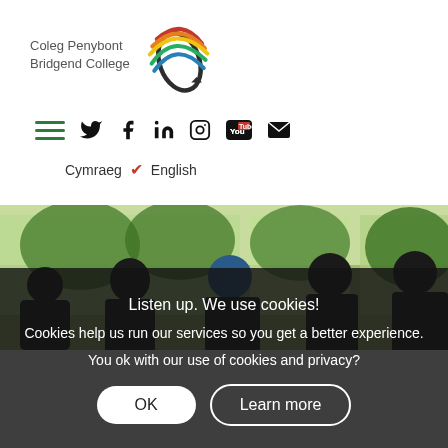[Figure (logo): Bridgend College / Coleg Penybont logo with colorful swirl graphic and bilingual text]
[Figure (infographic): Navigation bar with hamburger menu icon and social media icons: Twitter, Facebook, LinkedIn, Instagram, YouTube, Email]
Cymraeg ✓ English
[Figure (photo): Photo of students in a classroom or workshop setting, with green trees visible through windows in the background]
Listen up. We use cookies!
Cookies help us run our services so you get a better experience.
You ok with our use of cookies and privacy?
OK
Learn more